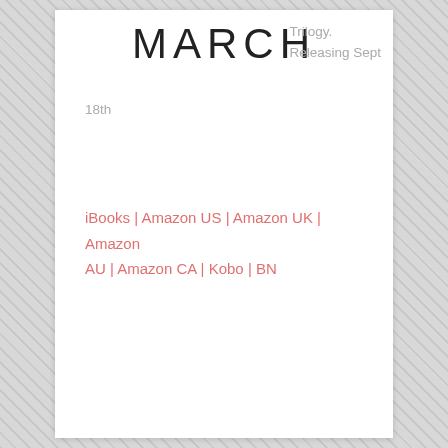MARCH
Trilogy.
Releasing Sept 18th
iBooks | Amazon US | Amazon UK | Amazon AU | Amazon CA | Kobo | BN